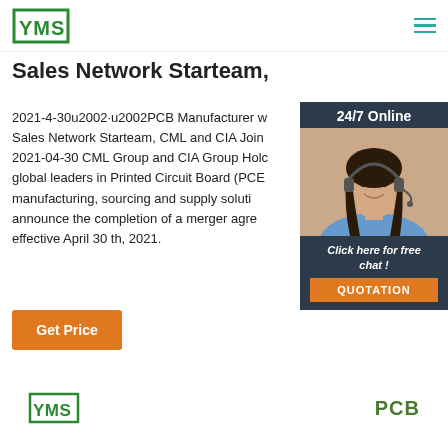YMS logo and hamburger menu
Sales Network Starteam,
2021-4-30u2002·u2002PCB Manufacturer with Sales Network Starteam, CML and CIA Join 2021-04-30 CML Group and CIA Group Holdings, global leaders in Printed Circuit Board (PCB) manufacturing, sourcing and supply solutions, announce the completion of a merger agreement effective April 30 th, 2021.
[Figure (photo): Customer service representative with headset, 24/7 Online widget with Click here for free chat and QUOTATION button]
[Figure (logo): Get Price orange button]
[Figure (logo): YMS logo footer]
PCB